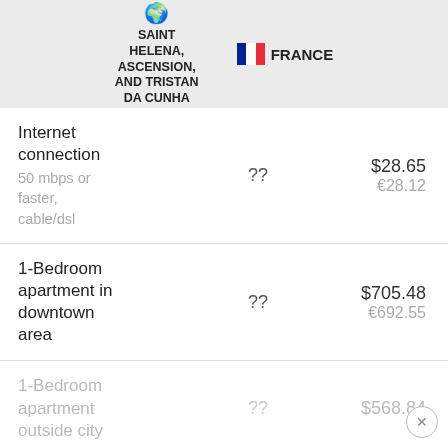[Figure (other): Header section showing two country columns: Saint Helena, Ascension, and Tristan Da Cunha (with globe emoji flag) and France (with French flag icon)]
| Item | Saint Helena Value | France Value |
| --- | --- | --- |
| Internet connection
50 mbps or faster, cable/dsl | ?? | $28.65
€28.12 |
| 1-Bedroom apartment in downtown area | ?? | $705.48
€692.55 |
| 1-Bedroom apartment outside city | ?? | $568.84 |